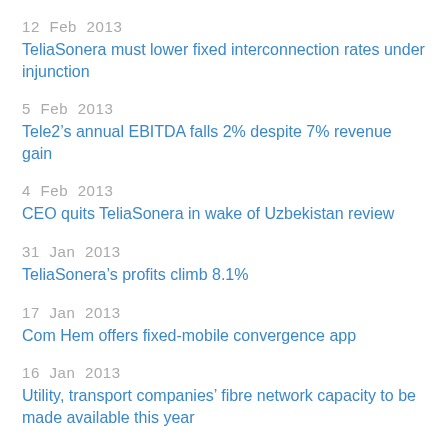12  Feb  2013
TeliaSonera must lower fixed interconnection rates under injunction
5  Feb  2013
Tele2's annual EBITDA falls 2% despite 7% revenue gain
4  Feb  2013
CEO quits TeliaSonera in wake of Uzbekistan review
31  Jan  2013
TeliaSonera's profits climb 8.1%
17  Jan  2013
Com Hem offers fixed-mobile convergence app
16  Jan  2013
Utility, transport companies’ fibre network capacity to be made available this year
14  Jan  2013